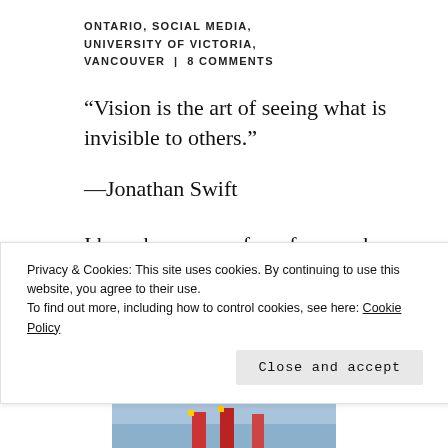ONTARIO, SOCIAL MEDIA, UNIVERSITY OF VICTORIA, VANCOUVER | 8 COMMENTS
“Vision is the art of seeing what is invisible to others.”
—Jonathan Swift
I have been away for a few weeks, most recently in British Columbia and before that, I guess I couldn’t seem to organize my thankfuls, but
Privacy & Cookies: This site uses cookies. By continuing to use this website, you agree to their use.
To find out more, including how to control cookies, see here: Cookie Policy
[Figure (photo): Partial view of a photo at the bottom of the page showing red structures against a blue sky]